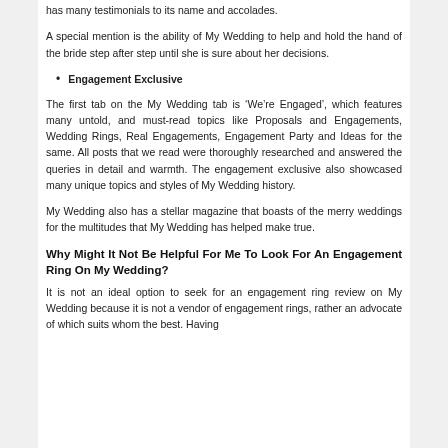has many testimonials to its name and accolades.
A special mention is the ability of My Wedding to help and hold the hand of the bride step after step until she is sure about her decisions.
Engagement Exclusive
The first tab on the My Wedding tab is ‘We’re Engaged’, which features many untold, and must-read topics like Proposals and Engagements, Wedding Rings, Real Engagements, Engagement Party and Ideas for the same. All posts that we read were thoroughly researched and answered the queries in detail and warmth. The engagement exclusive also showcased many unique topics and styles of My Wedding history.
My Wedding also has a stellar magazine that boasts of the merry weddings for the multitudes that My Wedding has helped make true.
Why Might It Not Be Helpful For Me To Look For An Engagement Ring On My Wedding?
It is not an ideal option to seek for an engagement ring review on My Wedding because it is not a vendor of engagement rings, rather an advocate of which suits whom the best. Having